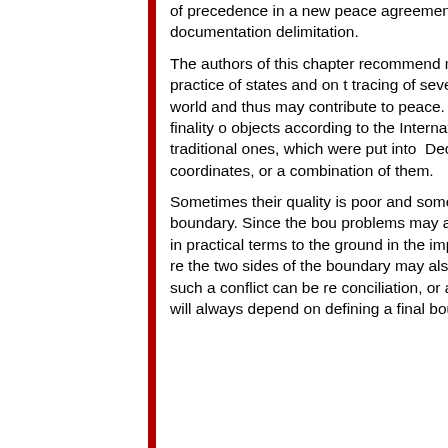of precedence in a new peace agreement, and shows a method of envisaging later activities such as demarcation and documentation delimitation.
The authors of this chapter recommend making a list of order of precedence of ICJ and of international Tribunals, on the practice of states and on the tracing of several international boundaries. The adoption of the conclusions disputes all over the world and thus may contribute to peace. Stable in peace all over the world. The achievement of stability and the finality of objects according to the International Court of Justice (ICJ reports, 19 defining the boundary lines. The traditional ones, which were put into Declarations, or in bilateral Agreements, include verbal descriptions, g coordinates, or a combination of them.
Sometimes their quality is poor and sometimes there are contradictions cases do not contribute to the stability of the boundary. Since the boundary problems may arise as early as the demarcation phase, when the definition has to be transferred in practical terms to the ground in the implementation physical markers may disappear and the boundary line may require re the two sides of the boundary may also change, and disputes and conflicts location of the boundary line. The solution of such a conflict can be resolved conciliation, or arbitration by an international Tribunal and sometimes itself. Such a solution will always depend on defining a final boundary